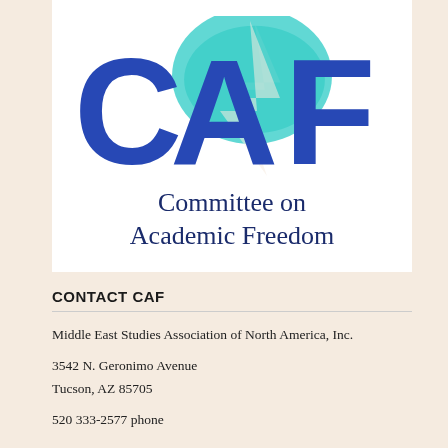[Figure (logo): CAF (Committee on Academic Freedom) logo with large blue stylized letters C, A, F and a teal lightning bolt shape behind them, with 'Committee on Academic Freedom' text below in dark navy]
CONTACT CAF
Middle East Studies Association of North America, Inc.
3542 N. Geronimo Avenue
Tucson, AZ 85705
520 333-2577 phone